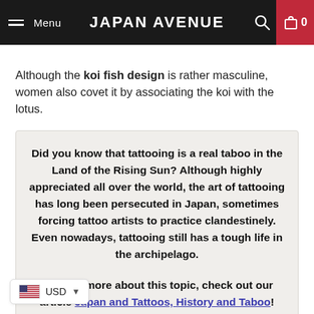Menu | JAPAN AVENUE | 0
Although the koi fish design is rather masculine, women also covet it by associating the koi with the lotus.
Did you know that tattooing is a real taboo in the Land of the Rising Sun? Although highly appreciated all over the world, the art of tattooing has long been persecuted in Japan, sometimes forcing tattoo artists to practice clandestinely. Even nowadays, tattooing still has a tough life in the archipelago.

To learn more about this topic, check out our article Japan and Tattoos, History and Taboo!